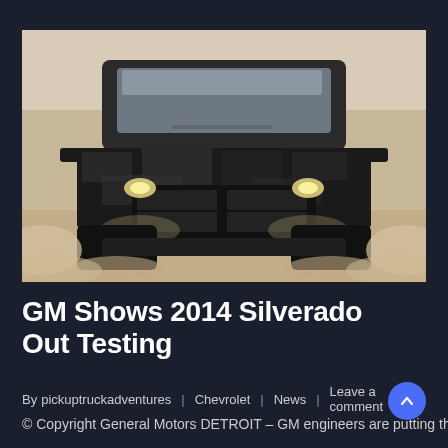[Figure (photo): Front view of a camouflaged 2014 Chevrolet Silverado pickup truck being tested, driving through dusty/snowy conditions with headlights on.]
GM Shows 2014 Silverado Out Testing
By pickuptruckadventures | Chevrolet | News | Leave a comment
© Copyright General Motors DETROIT – GM engineers are putting the next generation Chevrolet Silverado through the final